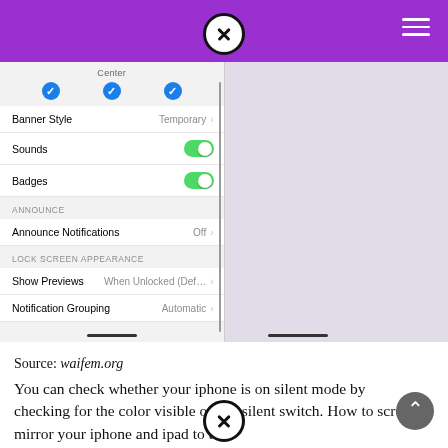[Figure (screenshot): iOS notification settings screen showing Banner Style (Temporary), Sounds (on), Badges (on), Announce Notifications (Off), Show Previews (When Unlocked), Notification Grouping (Automatic)]
Source: waifem.org
You can check whether your iphone is on silent mode by checking for the color visible on the silent switch. How to screen mirror your iphone and ipad to tv.